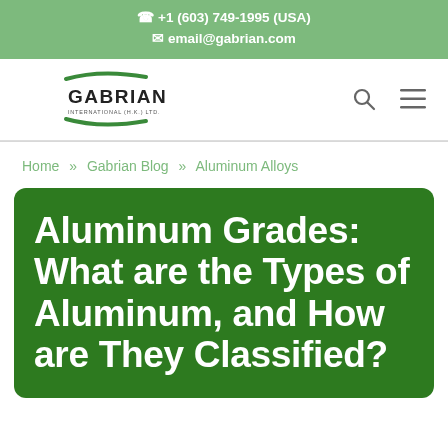+1 (603) 749-1995 (USA)
email@gabrian.com
[Figure (logo): Gabrian International (H.K.) Ltd. logo with green swoosh and dark text]
Home » Gabrian Blog » Aluminum Alloys
Aluminum Grades: What are the Types of Aluminum, and How are They Classified?